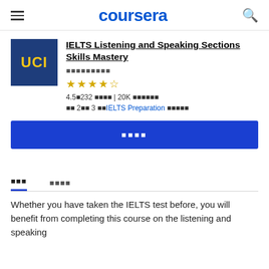coursera
[Figure (logo): UCI logo — dark blue square with yellow UCI text]
IELTS Listening and Speaking Sections Skills Mastery
🟨🟨🟨🟨🟨🟨🟨🟨🟨 (provider name in non-Latin script)
★★★★☆ 4.5 — 232 ratings | 20K students
코스 2개(총 3개) IELTS Preparation 전문 과정
무료 등록 (Enroll button)
정보 강사진
Whether you have taken the IELTS test before, you will benefit from completing this course on the listening and speaking